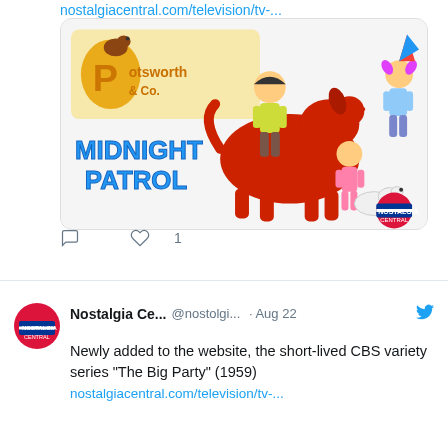nostalgiacentral.com/television/tv-...
[Figure (illustration): Cartoon image showing 'Potsworth & Co.' and 'Midnight Patrol' animated characters with a large red dog, children, and the Nostalgia Central logo]
♡ 1
Nostalgia Ce... @nostolgi... · Aug 22
Newly added to the website, the short-lived CBS variety series "The Big Party" (1959)
nostalgiacentral.com/television/tv-...
[Figure (photo): Black and white photo of a party scene with people in formal attire, some dancing, with a red upward arrow overlay in the bottom right]